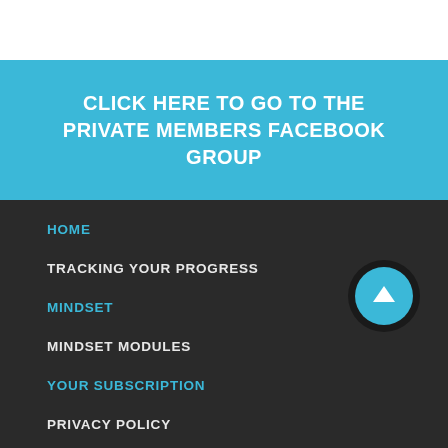CLICK HERE TO GO TO THE PRIVATE MEMBERS FACEBOOK GROUP
HOME
TRACKING YOUR PROGRESS
MINDSET
MINDSET MODULES
YOUR SUBSCRIPTION
PRIVACY POLICY